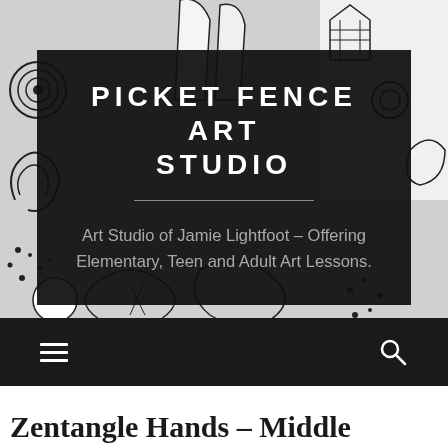[Figure (illustration): Black and white zentangle art pattern with swirls, dots, geometric shapes filling the upper background area]
PICKET FENCE ART STUDIO
Art Studio of Jamie Lightfoot – Offering Elementary, Teen and Adult Art Lessons.
[Figure (other): Navigation bar with hamburger menu icon on left and search icon on right, dark background]
Zentangle Hands – Middle